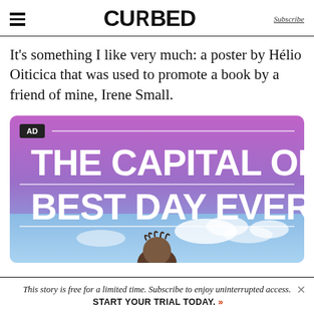CURBED | Subscribe
It's something I like very much: a poster by Hélio Oiticica that was used to promote a book by a friend of mine, Irene Small.
[Figure (infographic): Advertisement banner with purple-to-blue gradient background showing bold white text 'THE CAPITAL OF BEST DAY EVER' with a person's head visible at the bottom, labeled AD in top-left corner]
This story is free for a limited time. Subscribe to enjoy uninterrupted access. START YOUR TRIAL TODAY.